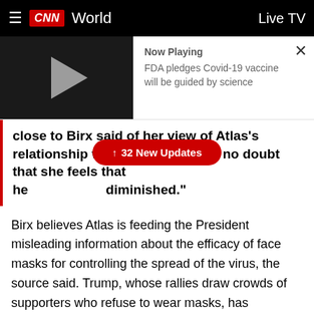CNN World  |  Live TV
[Figure (screenshot): Video thumbnail with play button showing a dark background and a gray play triangle. Overlay shows 'Now Playing' and 'FDA pledges Covid-19 vaccine will be guided by science'. A close (X) button is in the top right.]
close to Birx said of her view of Atlas's relationship with [32 New Updates] is no doubt that she feels that her role has been diminished."
Birx believes Atlas is feeding the President misleading information about the efficacy of face masks for controlling the spread of the virus, the source said. Trump, whose rallies draw crowds of supporters who refuse to wear masks, has repeatedly mocked Democratic rival Joe Biden for using them.
Speaking from the White House briefing room Wednesday evening, Atlas claimed there isn't any bad